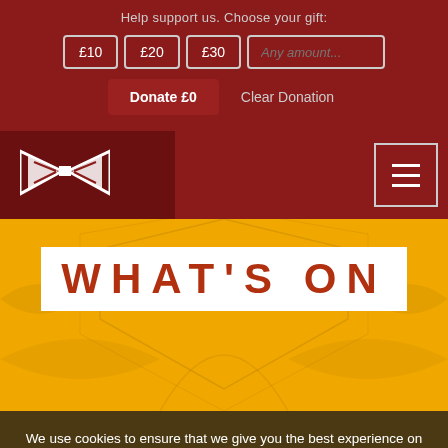Help support us. Choose your gift:
£10   £20   £30   Any amount...
Donate £0   Clear Donation
[Figure (logo): Theatre/venue logo with white bowtie/bow-tie shape made of triangular forms]
[Figure (infographic): Hamburger menu icon (three horizontal lines) inside a square border]
WHAT'S ON
We use cookies to ensure that we give you the best experience on our website. If you continue to use this site we will assume that you are happy with it.
Ok   Read more